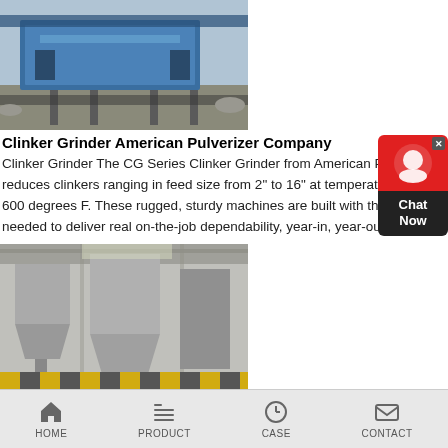[Figure (photo): Industrial blue clinker grinder machine outdoors on a mining/processing site]
Clinker Grinder American Pulverizer Company
Clinker Grinder The CG Series Clinker Grinder from American Pulverizer reduces clinkers ranging in feed size from 2" to 16" at temperatures up to 600 degrees F. These rugged, sturdy machines are built with the quality needed to deliver real on-the-job dependability, year-in, year-out.get price
[Figure (photo): Indoor industrial facility showing large metal hoppers and conveyor equipment in a factory setting]